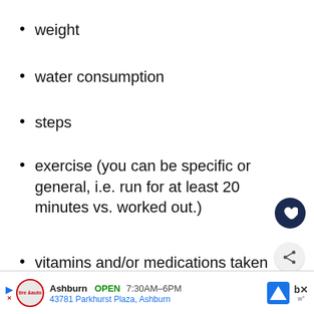weight
water consumption
steps
exercise (you can be specific or general, i.e. run for at least 20 minutes vs. worked out.)
vitamins and/or medications taken
calorie tracking
hours of sleep (i.e. total hours, or waking